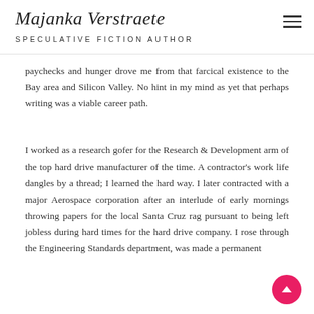Majanka Verstraete
SPECULATIVE FICTION AUTHOR
paychecks and hunger drove me from that farcical existence to the Bay area and Silicon Valley. No hint in my mind as yet that perhaps writing was a viable career path.
I worked as a research gofer for the Research & Development arm of the top hard drive manufacturer of the time. A contractor's work life dangles by a thread; I learned the hard way. I later contracted with a major Aerospace corporation after an interlude of early mornings throwing papers for the local Santa Cruz rag pursuant to being left jobless during hard times for the hard drive company. I rose through the Engineering Standards department, was made a permanent